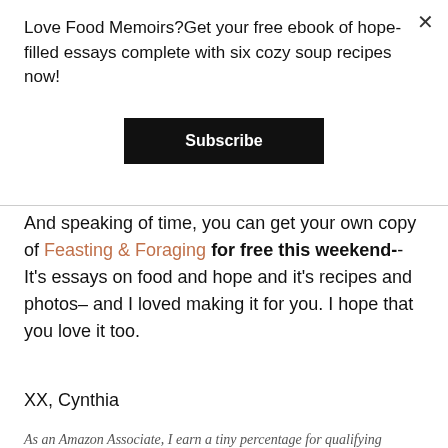Love Food Memoirs?Get your free ebook of hope-filled essays complete with six cozy soup recipes now!
Subscribe
And speaking of time, you can get your own copy of Feasting & Foraging for free this weekend-- It's essays on food and hope and it's recipes and photos– and I loved making it for you. I hope that you love it too.
XX, Cynthia
As an Amazon Associate, I earn a tiny percentage for qualifying purchases made as a result of links I share. I will never share products I do not honestly believe you will love.